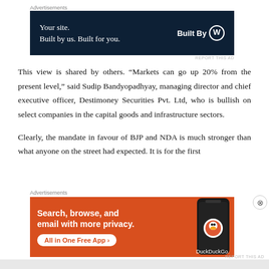[Figure (other): WordPress 'Built By' advertisement banner with dark navy background. Left text: 'Your site. Built by us. Built for you.' Right text: 'Built By' with WordPress circle logo.]
This view is shared by others. “Markets can go up 20% from the present level,” said Sudip Bandyopadhyay, managing director and chief executive officer, Destimoney Securities Pvt. Ltd, who is bullish on select companies in the capital goods and infrastructure sectors.
Clearly, the mandate in favour of BJP and NDA is much stronger than what anyone on the street had expected. It is for the first
[Figure (other): DuckDuckGo advertisement banner with orange background. Left text: 'Search, browse, and email with more privacy.' CTA button: 'All in One Free App'. Right side shows a phone with DuckDuckGo logo.]